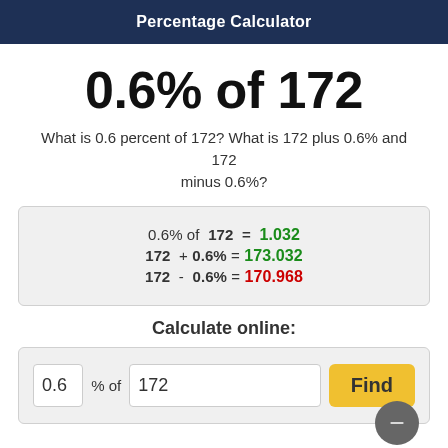Percentage Calculator
0.6% of 172
What is 0.6 percent of 172? What is 172 plus 0.6% and 172 minus 0.6%?
| 0.6% of | 172 | = | 1.032 |
| 172 | + 0.6% | = | 173.032 |
| 172 | - 0.6% | = | 170.968 |
Calculate online:
0.6 % of 172 Find